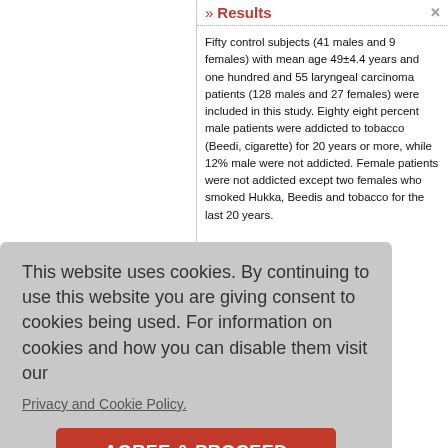» Results
Fifty control subjects (41 males and 9 females) with mean age 49±4.4 years and one hundred and 55 laryngeal carcinoma patients (128 males and 27 females) were included in this study. Eighty eight percent male patients were addicted to tobacco (Beedi, cigarette) for 20 years or more, while 12% male were not addicted. Female patients were not addicted except two females who smoked Hukka, Beedis and tobacco for the last 20 years.
...ed to similar years or more. either oric intake in alories while 00 to 1600 rum MDA with 95% CI. ere three with 95% CI. carcinoma c two groups P <0.001)
This website uses cookies. By continuing to use this website you are giving consent to cookies being used. For information on cookies and how you can disable them visit our
Privacy and Cookie Policy.
AGREE & PROCEED
[Table 1].